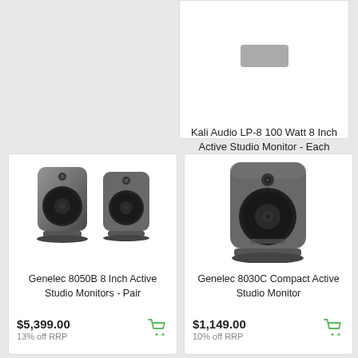[Figure (photo): Kali Audio LP-8 studio monitor speaker product image (partially cut off at top)]
Kali Audio LP-8 100 Watt 8 Inch Active Studio Monitor - Each
$499.00
[Figure (photo): Genelec 8050B pair of 8 inch active studio monitors (dark grey, two speakers shown side by side)]
Genelec 8050B 8 Inch Active Studio Monitors - Pair
$5,399.00
13% off RRP
[Figure (photo): Genelec 8030C compact active studio monitor (dark grey, single speaker)]
Genelec 8030C Compact Active Studio Monitor
$1,149.00
10% off RRP